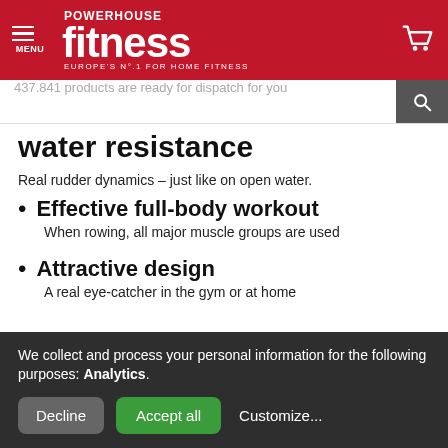POWERHOUSE fitness EUROPE'S No.1 FOR HOME FITNESS
437.841 products are ready for dispatch for you
water resistance
Real rudder dynamics – just like on open water.
Effective full-body workout
When rowing, all major muscle groups are used
Attractive design
A real eye-catcher in the gym or at home
[Figure (photo): Grey image placeholder for product photo]
We collect and process your personal information for the following purposes: Analytics.
Decline | Accept all | Customize...